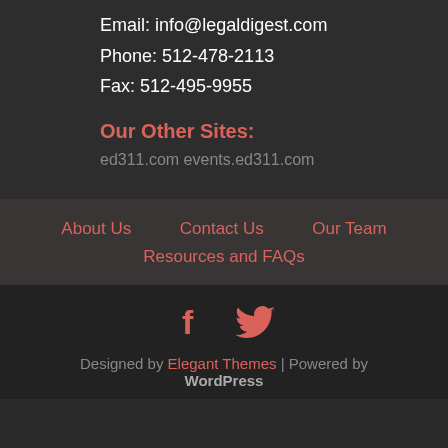Email: info@legaldigest.com
Phone: 512-478-2113
Fax: 512-495-9955
Our Other Sites:
ed311.com events.ed311.com
About Us   Contact Us   Our Team
Resources and FAQs
[Figure (infographic): Facebook and Twitter social media icons in salmon/coral color]
Designed by Elegant Themes | Powered by WordPress